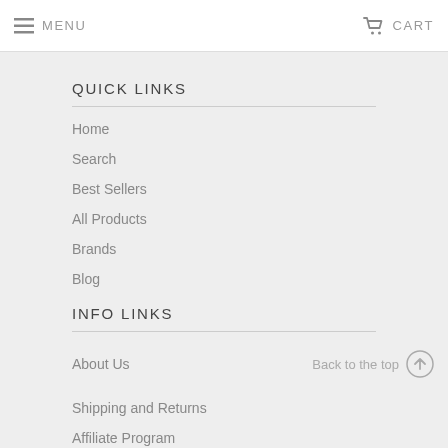MENU   CART
QUICK LINKS
Home
Search
Best Sellers
All Products
Brands
Blog
INFO LINKS
About Us
Shipping and Returns
Affiliate Program
Back to the top